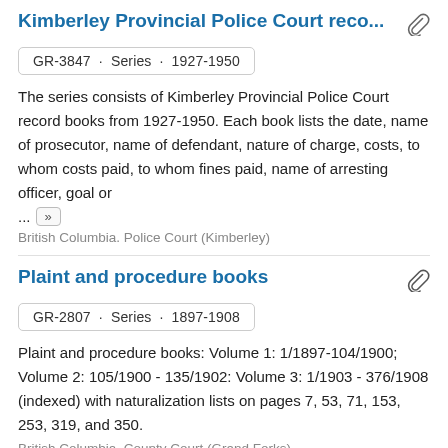Kimberley Provincial Police Court reco...
GR-3847 · Series · 1927-1950
The series consists of Kimberley Provincial Police Court record books from 1927-1950. Each book lists the date, name of prosecutor, name of defendant, nature of charge, costs, to whom costs paid, to whom fines paid, name of arresting officer, goal or ...
British Columbia. Police Court (Kimberley)
Plaint and procedure books
GR-2807 · Series · 1897-1908
Plaint and procedure books: Volume 1: 1/1897-104/1900; Volume 2: 105/1900 - 135/1902: Volume 3: 1/1903 - 376/1908 (indexed) with naturalization lists on pages 7, 53, 71, 153, 253, 319, and 350.
British Columbia. County Court (Grand Forks)